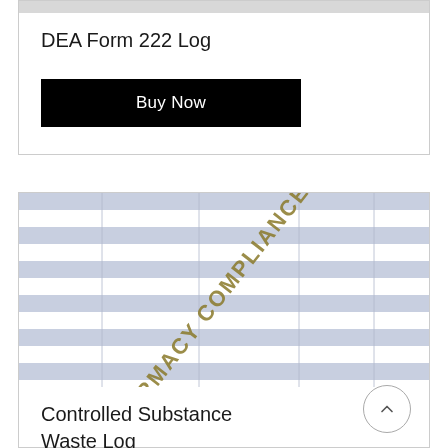[Figure (other): Preview thumbnail of DEA Form 222 Log - striped table with gray rows]
DEA Form 222 Log
Buy Now
[Figure (other): Preview thumbnail of Controlled Substance Waste Log - striped table with watermark text reading PHARMACY COMPLIANCE SPE...]
Controlled Substance Waste Log